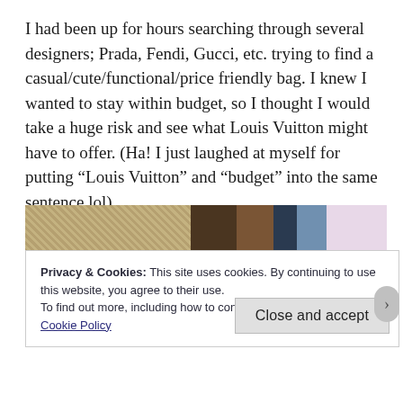I had been up for hours searching through several designers; Prada, Fendi, Gucci, etc. trying to find a casual/cute/functional/price friendly bag. I knew I wanted to stay within budget, so I thought I would take a huge risk and see what Louis Vuitton might have to offer. (Ha! I just laughed at myself for putting “Louis Vuitton” and “budget” into the same sentence lol).
[Figure (photo): A partial photo showing a Louis Vuitton bag with monogram pattern, along with other items in the background.]
Privacy & Cookies: This site uses cookies. By continuing to use this website, you agree to their use.
To find out more, including how to control cookies, see here:
Cookie Policy
Close and accept